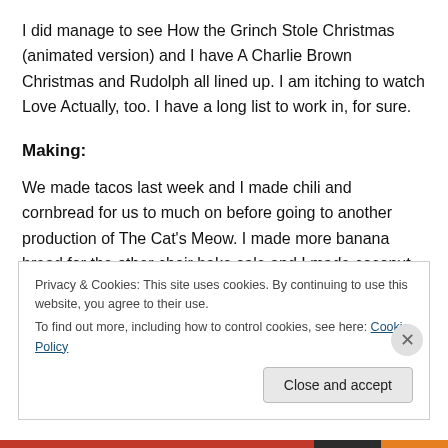I did manage to see How the Grinch Stole Christmas (animated version) and I have A Charlie Brown Christmas and Rudolph all lined up. I am itching to watch Love Actually, too. I have a long list to work in, for sure.
Making:
We made tacos last week and I made chili and cornbread for us to much on before going to another production of The Cat's Meow. I made more banana bread for the other choir bake sale and I made coconut macaroons for a work
Privacy & Cookies: This site uses cookies. By continuing to use this website, you agree to their use.
To find out more, including how to control cookies, see here: Cookie Policy
Close and accept